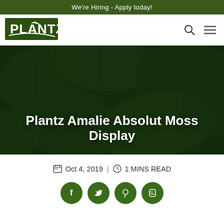We're Hiring - Apply today!
[Figure (logo): Plantz company logo in dark green with stylized plant graphic]
[Figure (photo): Dark green tropical leaves background image with the article title overlaid: Plantz Amalie Absolut Moss Display]
Plantz Amalie Absolut Moss Display
Oct 4, 2019 | 1 MINS READ
[Figure (infographic): Four circular dark green social media share buttons: Facebook, Twitter, Pinterest, Blogger]